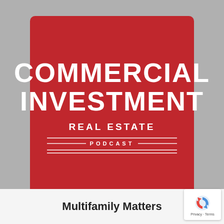[Figure (logo): Commercial Investment Real Estate Podcast logo — red square with white bold text reading COMMERCIAL INVESTMENT, then REAL ESTATE, then decorative triple lines with PODCAST in the center]
Multifamily Matters